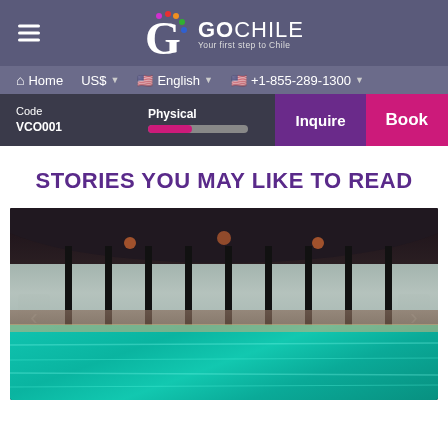[Figure (screenshot): GoChile website header with logo, navigation bar, code/booking bar, stories section title, and hotel image slider]
STORIES YOU MAY LIKE TO READ
[Figure (photo): Indoor pool at a luxury ski hotel in Chile, with glass walls showing snowy forest outside. Overlay text: 'Best all inclusive hotels to go skiing in Chile']